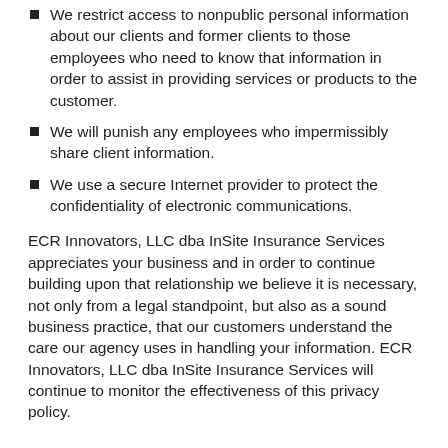We restrict access to nonpublic personal information about our clients and former clients to those employees who need to know that information in order to assist in providing services or products to the customer.
We will punish any employees who impermissibly share client information.
We use a secure Internet provider to protect the confidentiality of electronic communications.
ECR Innovators, LLC dba InSite Insurance Services appreciates your business and in order to continue building upon that relationship we believe it is necessary, not only from a legal standpoint, but also as a sound business practice, that our customers understand the care our agency uses in handling your information. ECR Innovators, LLC dba InSite Insurance Services will continue to monitor the effectiveness of this privacy policy.